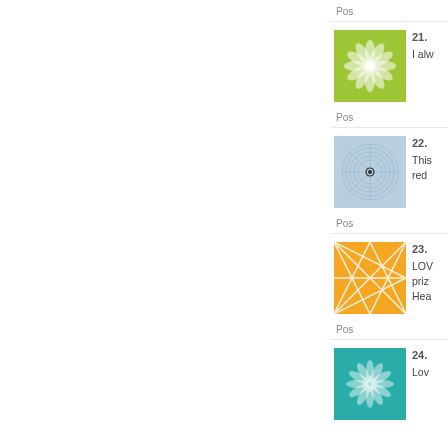Pos
[Figure (illustration): Green flower/mandala geometric pattern thumbnail]
21. I alw
Pos
[Figure (illustration): Blue spiral geometric pattern thumbnail]
22. This red
Pos
[Figure (illustration): Orange geometric lines pattern thumbnail]
23. LOV priz Hea
Pos
[Figure (illustration): Teal/green mandala pattern thumbnail]
24. Lov